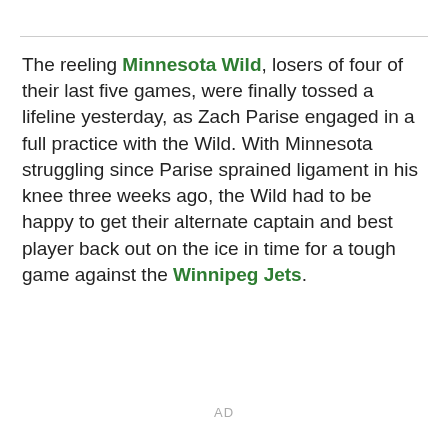The reeling Minnesota Wild, losers of four of their last five games, were finally tossed a lifeline yesterday, as Zach Parise engaged in a full practice with the Wild. With Minnesota struggling since Parise sprained ligament in his knee three weeks ago, the Wild had to be happy to get their alternate captain and best player back out on the ice in time for a tough game against the Winnipeg Jets.
AD